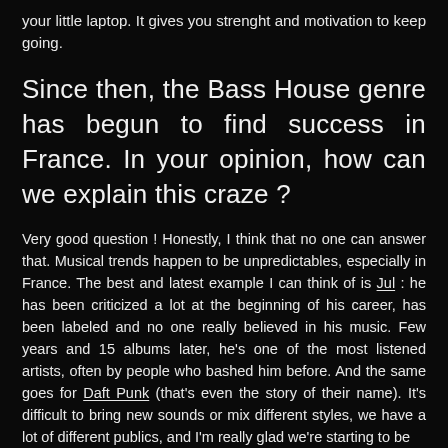your little laptop. It gives you strenght and motivation to keep going.
Since then, the Bass House genre has begun to find success in France. In your opinion, how can we explain this craze ?
Very good question ! Honestly, I think that no one can answer that. Musical trends happen to be unpredictables, especially in France. The best and latest example I can think of is Jul : he has been criticized a lot at the beginning of his career, has been labeled and no one really believed in his music. Few years and 15 albums later, he's one of the most listened artists, often by people who bashed him before. And the same goes for Daft Punk (that's even the story of their name). It's difficult to bring new sounds or mix different styles, we have a lot of different publics, and I'm really glad we're starting to be